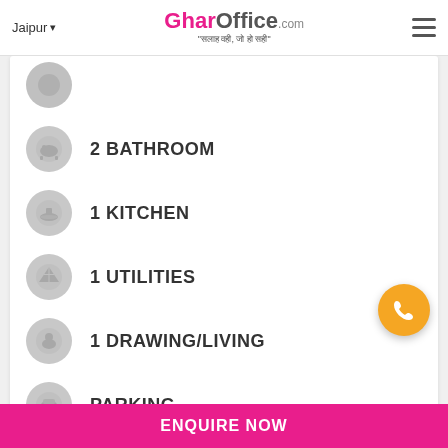Jaipur | GharOffice.com | "सलाह वही, जो हो सही"
2 BATHROOM
1 KITCHEN
1 UTILITIES
1 DRAWING/LIVING
PARKING
OVERVIEW
3BHK , duplex appartment ground floor ,semi furnished
ENQUIRE NOW